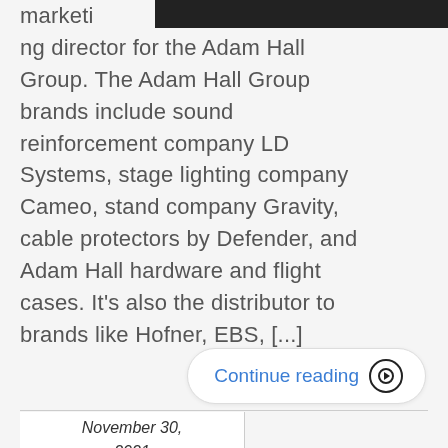[Figure (photo): Partial dark photo visible at top right of page]
marketing director for the Adam Hall Group. The Adam Hall Group brands include sound reinforcement company LD Systems, stage lighting company Cameo, stand company Gravity, cable protectors by Defender, and Adam Hall hardware and flight cases. It's also the distributor to brands like Hofner, EBS, [...]
Continue reading →
November 30, 2021